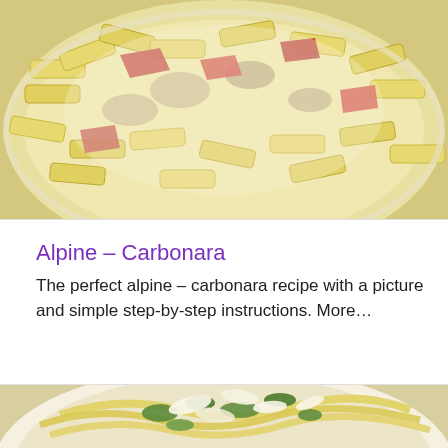[Figure (photo): Close-up photo of alpine carbonara pasta dish — penne pasta with cream sauce, mushrooms, and pieces of bacon or ham in a white bowl]
Alpine – Carbonara
The perfect alpine – carbonara recipe with a picture and simple step-by-step instructions. More…
[Figure (photo): Close-up photo of pasta dish with green vegetables (asparagus, herbs) topped with shaved parmesan cheese in a white bowl]